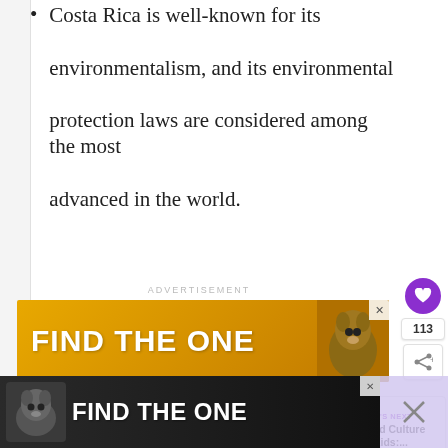Costa Rica is well-known for its environmentalism, and its environmental protection laws are considered among the most advanced in the world.
[Figure (screenshot): Advertisement banner with yellow/gold background reading 'FIND THE ONE' with a dog image on the right side and an X close button]
[Figure (screenshot): Right-side UI buttons: purple heart/favorite button, count of 113, and share button with plus icon]
[Figure (screenshot): What's Next panel showing link to 'World Culture for Kids:...' with a thumbnail image of the Sydney Opera House]
[Figure (screenshot): Bottom advertisement banner with dark background reading 'FIND THE ONE' with a dog image, X close button, and purple close area on right]